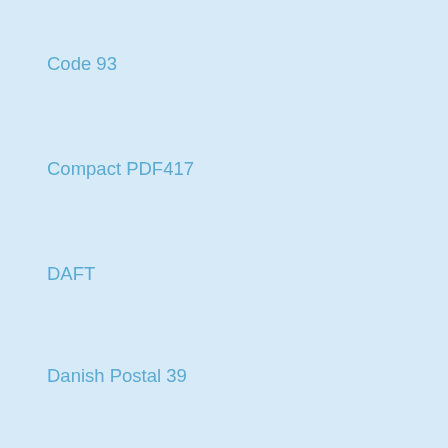Code 93
Compact PDF417
DAFT
Danish Postal 39
Data Logic 2 of 5
Data Matrix
Deutsche Post BZL Barcode
Deutsche Post Identcode Barcode
Deutsche Post Leitcode Barcode
Deutsche Post PostMatrix Barcode